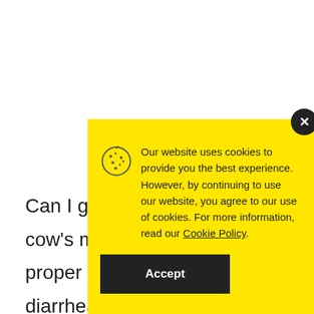Can I give co cow's milk to proper nutrit s diarrhea, a li
[Figure (screenshot): Cookie consent modal with yellow background. Contains cookie icon, text about website cookie use, a link to Cookie Policy, and an Accept button. A dark close (X) button appears at the top right corner of the modal.]